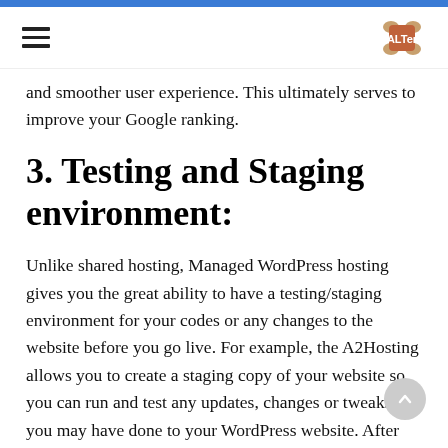≡ [logo]
and smoother user experience. This ultimately serves to improve your Google ranking.
3. Testing and Staging environment:
Unlike shared hosting, Managed WordPress hosting gives you the great ability to have a testing/staging environment for your codes or any changes to the website before you go live. For example, the A2Hosting allows you to create a staging copy of your website so you can run and test any updates, changes or tweaks you may have done to your WordPress website. After successful testing, you can now go live with your newer website version.